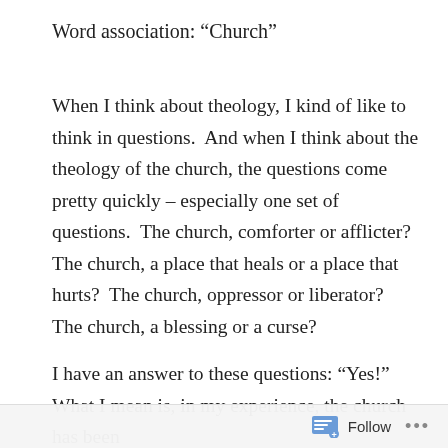Word association: “Church”
When I think about theology, I kind of like to think in questions.  And when I think about the theology of the church, the questions come pretty quickly – especially one set of questions.  The church, comforter or afflicter?  The church, a place that heals or a place that hurts?  The church, oppressor or liberator?  The church, a blessing or a curse?
I have an answer to these questions: “Yes!”  What I mean is, in my experience, the church has been
Follow •••